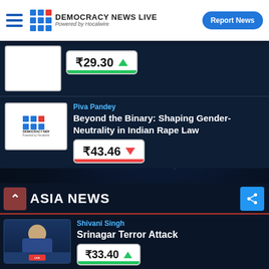DEMOCRACY NEWS LIVE Powered by Hocalwire | Report News
[Figure (screenshot): Partial article thumbnail with price badge ₹29.30 and green up arrow]
₹29.30 ▲
Piva Pandey
Beyond the Binary: Shaping Gender-Neutrality in Indian Rape Law
₹43.46 ▼
ASIA NEWS
Shivani Singh
Srinagar Terror Attack
₹33.40 ▲